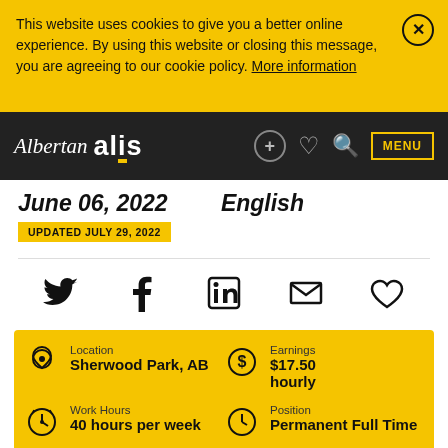This website uses cookies to give you a better online experience. By using this website or closing this message, you are agreeing to our cookie policy. More information
Albertan alis — MENU
June 06, 2022
UPDATED JULY 29, 2022
English
[Figure (infographic): Social share icons: Twitter, Facebook, LinkedIn, Email, Heart/Save]
Location
Sherwood Park, AB
Earnings
$17.50
hourly
Work Hours
40 hours per week
Position
Permanent Full Time